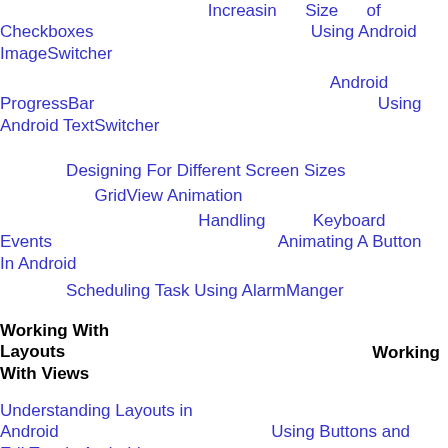Increasin Size of Checkboxes Using Android ImageSwitcher
Android ProgressBar Using Android TextSwitcher
Designing For Different Screen Sizes
GridView Animation
Handling Keyboard Events Animating A Button In Android
Scheduling Task Using AlarmManger
Working With Layouts
Working With Views
Understanding Layouts in Android Using Buttons and EditText in Android
Working with Linear Layout (With Example) Using CheckBoxes in